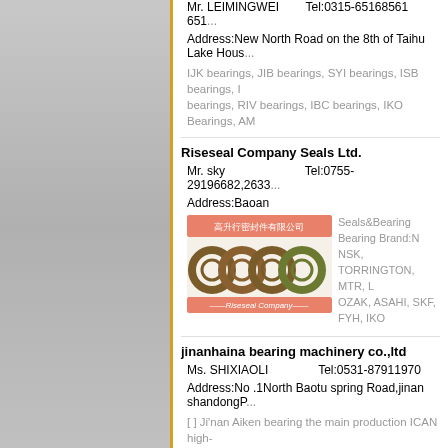Mr. LEIMINGWEI   Tel:0315-65168561 651...
Address:New North Road on the 8th of Taihu Lake Hous...
IJK bearings, JIB bearings, SYI bearings, ISB bearings, ... bearings, RIV bearings, IBC bearings, IKO Bearings, AM...
Riseseal Company Seals Ltd.
Mr. sky   Tel:0755-29196682,2633...
Address:Baoan
[Figure (logo): Riseseal Company logo with Chinese text and ring seals imagery]
Seals&Bearing Bearing Brand: NSK, TORRINGTON, MTR, L... OZAK, ASAHI, SKF, FYH, IKO...
jinanhaina bearing machinery co.,ltd
Ms. SHIXIAOLI   Tel:0531-87911970
Address:No .1North Baotu spring Road,jinan shandongP...
[ ] Ji'nan Aiken bearing the main production ICAN high-... bearing, split bearings, CARB bearings, deep groove ball...
Shanghai Mairui Transmission Machinery CO.,Ltd
Mr. Mr geng   Tel:021-56622319
Address:88 Nong Qanshan road Zhabei District Shanghai...
Shanghai Mairui Transmission Machinery Co., Ltd. is a p... bearing of formal enterprise. Our company sales agents a...
Jingchuang Bearing Electromechanical Equipment Co...
Mr. ...   Tel:86-0311-88415678...